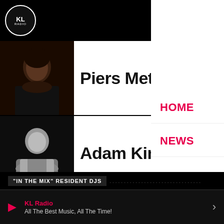[Figure (logo): KL Radio circular logo with white border on dark background]
Piers Mettrick
[Figure (photo): Photo of Piers Mettrick, man with dark hair]
Adam King
[Figure (photo): Black and white photo of Adam King, man with arms crossed]
HOME
NEWS
LOAD MORE
"IN THE MIX" RESIDENT DJS
KL Radio
All The Best Music, All The Time!